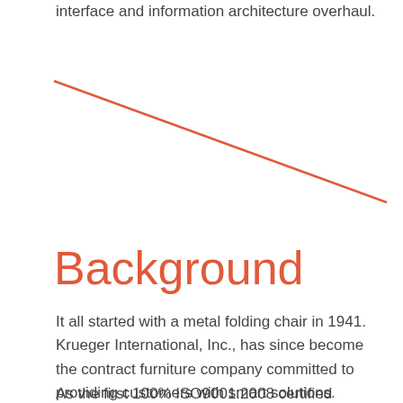interface and information architecture overhaul.
[Figure (other): Diagonal red/orange line running from upper-left to lower-right across the page]
Background
It all started with a metal folding chair in 1941. Krueger International, Inc., has since become the contract furniture company committed to providing customers with smart solutions.
As the first 100% ISO9001:2008 certified